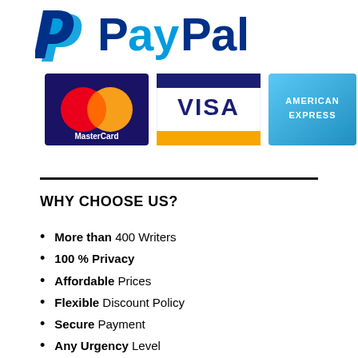[Figure (logo): PayPal logo with blue double-P symbol and 'PayPal' wordmark in dark blue]
[Figure (logo): MasterCard logo - red and orange overlapping circles on dark blue/purple background]
[Figure (logo): VISA logo - blue background with white VISA text]
[Figure (logo): American Express logo - blue gradient background with AMERICAN EXPRESS text]
WHY CHOOSE US?
More than 400 Writers
100 % Privacy
Affordable Prices
Flexible Discount Policy
Secure Payment
Any Urgency Level
High Quality Custom Writing